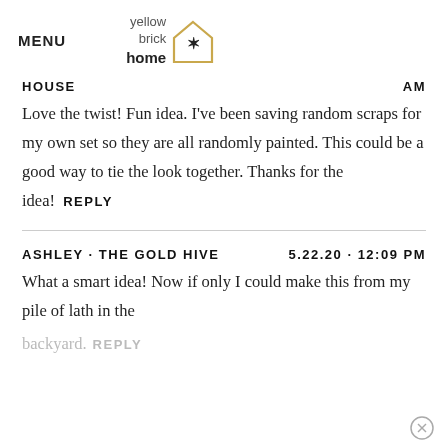MENU | yellow brick home logo
HOUSE  AM
Love the twist! Fun idea. I've been saving random scraps for my own set so they are all randomly painted. This could be a good way to tie the look together. Thanks for the idea!
REPLY
ASHLEY · THE GOLD HIVE   5.22.20 · 12:09 PM
What a smart idea! Now if only I could make this from my pile of lath in the backyard.
REPLY